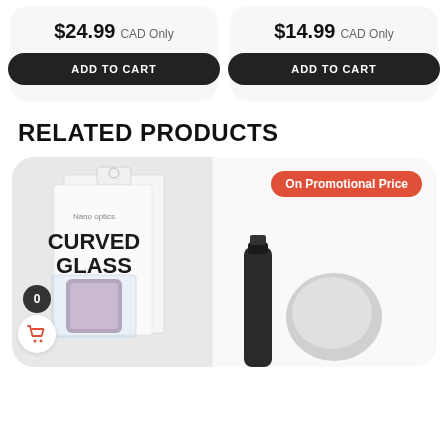$24.99 CAD Only
ADD TO CART
$14.99 CAD Only
ADD TO CART
RELATED PRODUCTS
[Figure (photo): Product image of Curved Glass screen protector packaging showing 'Nano optics CURVED GLASS' with a smartphone graphic]
On Promotional Price
[Figure (photo): Two product accessories shown at bottom right of card]